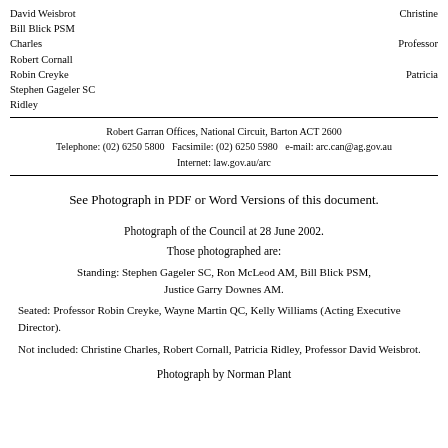David Weisbrot
Bill Blick PSM
Charles
Robert Cornall
Robin Creyke
Stephen Gageler SC
Ridley
Christine
Professor
Patricia
Robert Garran Offices, National Circuit, Barton ACT 2600
Telephone: (02) 6250 5800   Facsimile: (02) 6250 5980   e-mail: arc.can@ag.gov.au
Internet: law.gov.au/arc
[Figure (photo): See Photograph in PDF or Word Versions of this document.]
Photograph of the Council at 28 June 2002.
Those photographed are:
Standing: Stephen Gageler SC, Ron McLeod AM, Bill Blick PSM, Justice Garry Downes AM.
Seated: Professor Robin Creyke, Wayne Martin QC, Kelly Williams (Acting Executive Director).
Not included: Christine Charles, Robert Cornall, Patricia Ridley, Professor David Weisbrot.
Photograph by Norman Plant